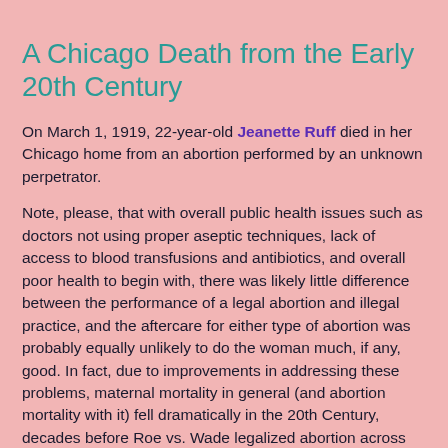A Chicago Death from the Early 20th Century
On March 1, 1919, 22-year-old Jeanette Ruff died in her Chicago home from an abortion performed by an unknown perpetrator.
Note, please, that with overall public health issues such as doctors not using proper aseptic techniques, lack of access to blood transfusions and antibiotics, and overall poor health to begin with, there was likely little difference between the performance of a legal abortion and illegal practice, and the aftercare for either type of abortion was probably equally unlikely to do the woman much, if any, good. In fact, due to improvements in addressing these problems, maternal mortality in general (and abortion mortality with it) fell dramatically in the 20th Century, decades before Roe vs. Wade legalized abortion across America.
For more information about early 20th Century abortion mortality, see Abortion Deaths 1910-1919